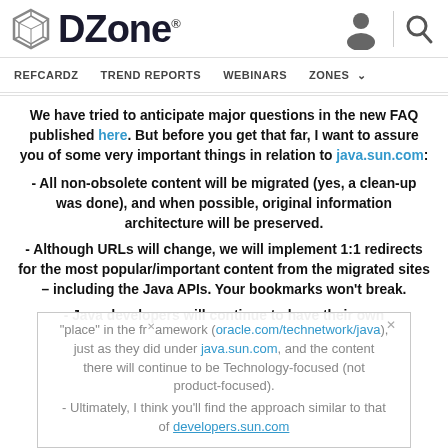DZone - REFCARDZ  TREND REPORTS  WEBINARS  ZONES
We have tried to anticipate major questions in the new FAQ published here. But before you get that far, I want to assure you of some very important things in relation to java.sun.com:
- All non-obsolete content will be migrated (yes, a clean-up was done), and when possible, original information architecture will be preserved.
- Although URLs will change, we will implement 1:1 redirects for the most popular/important content from the migrated sites – including the Java APIs. Your bookmarks won't break.
- Java developers will continue to have their own "place" in the framework (atoracle.com/technetwork/java), just as they did under java.sun.com, and the content there will continue to be Technology-focused (not product-focused).
- Ultimately, I think you'll find the approach similar to that of developers.sun.com